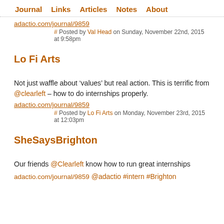Journal  Links  Articles  Notes  About
adactio.com/journal/9859
# Posted by Val Head on Sunday, November 22nd, 2015 at 9:58pm
Lo Fi Arts
Not just waffle about ‘values’ but real action. This is terrific from @clearleft – how to do internships properly.
adactio.com/journal/9859
# Posted by Lo Fi Arts on Monday, November 23rd, 2015 at 12:03pm
SheSaysBrighton
Our friends @Clearleft know how to run great internships
adactio.com/journal/9859 @adactio #intern #Brighton